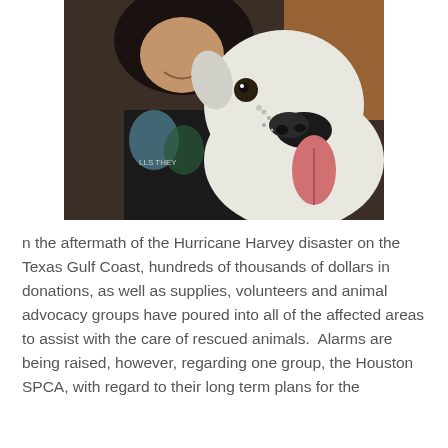[Figure (photo): A woman smiling next to a large white dog with a black nose and tongue out, close-up photo]
n the aftermath of the Hurricane Harvey disaster on the Texas Gulf Coast, hundreds of thousands of dollars in donations, as well as supplies, volunteers and animal advocacy groups have poured into all of the affected areas to assist with the care of rescued animals.  Alarms are being raised, however, regarding one group, the Houston SPCA, with regard to their long term plans for the